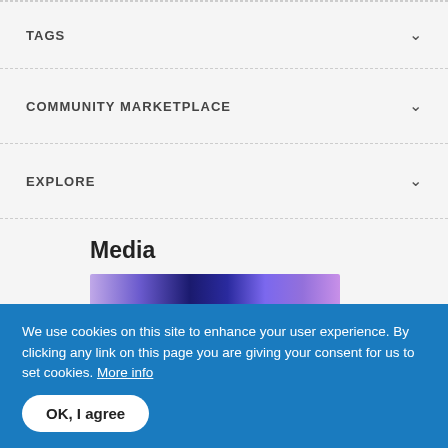TAGS
COMMUNITY MARKETPLACE
EXPLORE
Media
[Figure (photo): Partial image strip showing a purple and dark blue curtain or textile scene]
We use cookies on this site to enhance your user experience. By clicking any link on this page you are giving your consent for us to set cookies. More info
OK, I agree